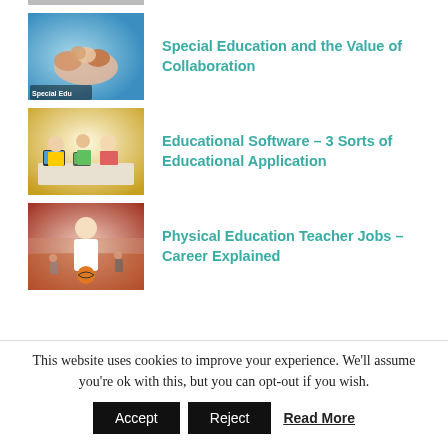[Figure (photo): Partially cropped image at top of page (previous article thumbnail)]
[Figure (photo): Children with hands together in a team huddle, Special Education article thumbnail]
Special Education and the Value of Collaboration
[Figure (photo): Children using tablets and studying, Educational Software article thumbnail]
Educational Software – 3 Sorts of Educational Application
[Figure (photo): Physical education teacher in a gym holding a basketball, Physical Education Teacher Jobs article thumbnail]
Physical Education Teacher Jobs – Career Explained
This website uses cookies to improve your experience. We'll assume you're ok with this, but you can opt-out if you wish.